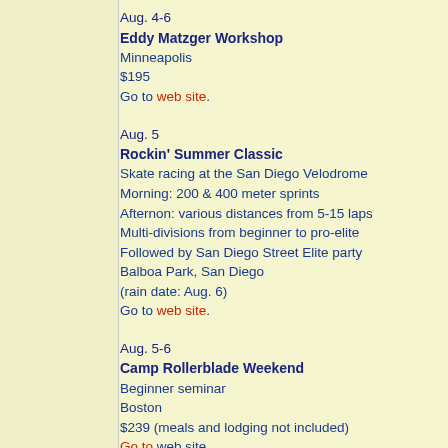Aug. 4-6
Eddy Matzger Workshop
Minneapolis
$195
Go to web site.
Aug. 5
Rockin' Summer Classic
Skate racing at the San Diego Velodrome
Morning: 200 & 400 meter sprints
Afternon: various distances from 5-15 laps
Multi-divisions from beginner to pro-elite
Followed by San Diego Street Elite party
Balboa Park, San Diego
(rain date: Aug. 6)
Go to web site.
Aug. 5-6
Camp Rollerblade Weekend
Beginner seminar
Boston
$239 (meals and lodging not included)
Go to web site
Aug. 5-6
Seattle Freestyle Clinic
English freestyle champion Naomi Grigg shares her...